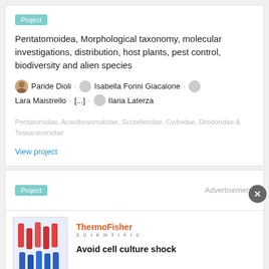Project
Pentatomoidea, Morphological taxonomy, molecular investigations, distribution, host plants, pest control, biodiversity and alien species
Paride Dioli · Isabella Forini Giacalone · Lara Maistrello · [...] · Ilaria Laterza
Pentatomidae, Acanthosomatidae, Scutelleridae, Cydnidae, Dinidoridae & Tessaratomidae
View project
Project
Advertisement
ThermoFisher SCIENTIFIC
Avoid cell culture shock